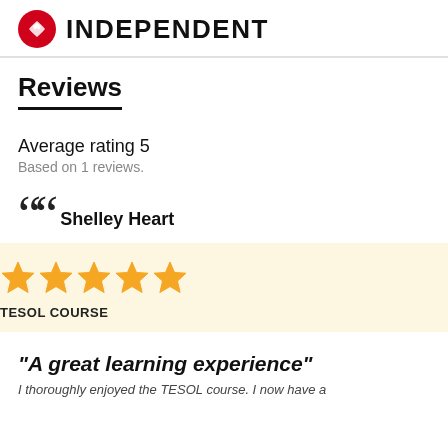INDEPENDENT
Reviews
Average rating 5
Based on 1 reviews.
Shelley Heart
[Figure (other): Five gold stars rating]
TESOL COURSE
"A great learning experience"
I thoroughly enjoyed the TESOL course. I now have a